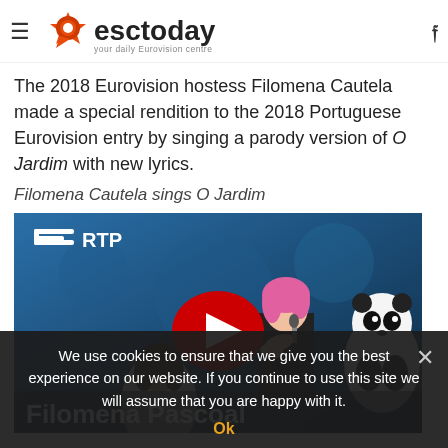esctoday — your daily Eurovision centre
The 2018 Eurovision hostess Filomena Cautela made a special rendition to the 2018 Portuguese Eurovision entry by singing a parody version of O Jardim with new lyrics.
Filomena Cautela sings O Jardim
[Figure (screenshot): YouTube video thumbnail from RTP showing a woman with pink hair singing on stage next to a cartoon panda, with the text 'Filomena Pascoal' overlaid at the bottom, and a YouTube play button in the center.]
We use cookies to ensure that we give you the best experience on our website. If you continue to use this site we will assume that you are happy with it.
Ok